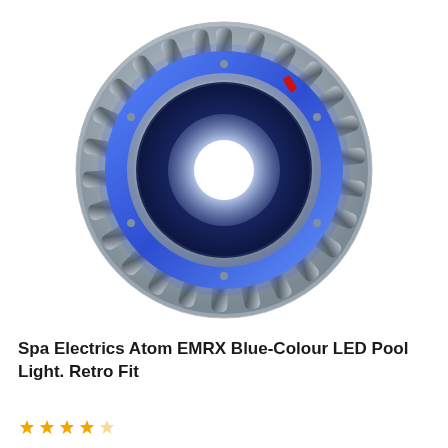[Figure (photo): Circular LED pool light (Spa Electrics Atom EMRX) viewed from front. The device has a round metallic silver housing with radial fins/slots arranged around the perimeter. The center features a bright white glowing LED element surrounded by a blue illuminated ring. A small red component is visible near the top-right of the housing.]
Spa Electrics Atom EMRX Blue-Colour LED Pool Light. Retro Fit
[Figure (other): Partial star rating icons visible at bottom-left, gold/yellow colored stars]